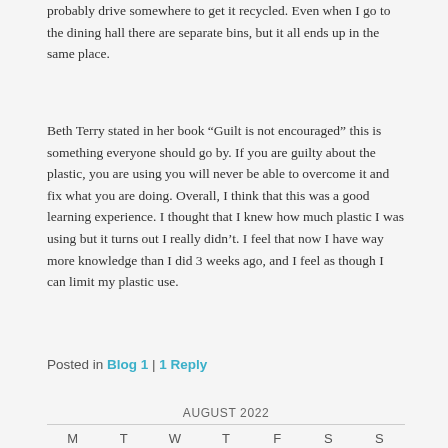probably drive somewhere to get it recycled. Even when I go to the dining hall there are separate bins, but it all ends up in the same place.
Beth Terry stated in her book “Guilt is not encouraged” this is something everyone should go by. If you are guilty about the plastic, you are using you will never be able to overcome it and fix what you are doing. Overall, I think that this was a good learning experience. I thought that I knew how much plastic I was using but it turns out I really didn’t. I feel that now I have way more knowledge than I did 3 weeks ago, and I feel as though I can limit my plastic use.
Posted in Blog 1 | 1 Reply
AUGUST 2022
M T W T F S S